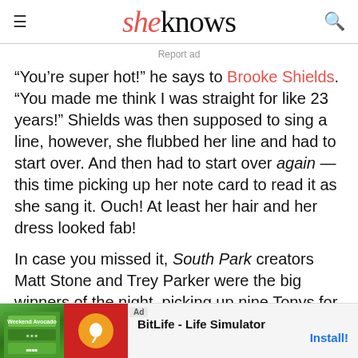sheknows
Report ad
“You’re super hot!” he says to Brooke Shields. “You made me think I was straight for like 23 years!” Shields was then supposed to sing a line, however, she flubbed her line and had to start over. And then had to start over again — this time picking up her note card to read it as she sang it. Ouch! At least her hair and her dress looked fab!
In case you missed it, South Park creators Matt Stone and Trey Parker were the big winners of the night, picking up nine Tonys for The Book of Mormon
[Figure (screenshot): Ad banner at bottom: BitLife - Life Simulator app advertisement with Install button]